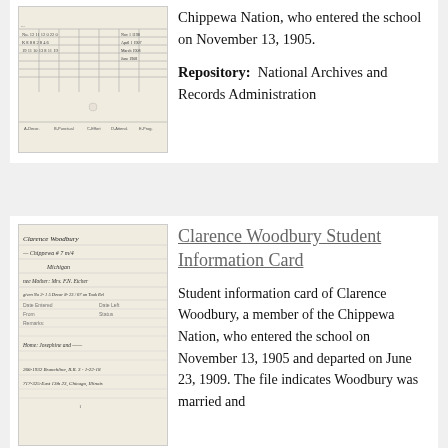[Figure (photo): Handwritten student record card with grid lines and dates, top card]
Chippewa Nation, who entered the school on November 13, 1905.
Repository:  National Archives and Records Administration
[Figure (photo): Handwritten student information card for Clarence Woodbury, Chippewa, with handwritten entries including mother Mrs. F.N. Etcher, address 266-1932 Branchline, R.R. 3, 717-325-East 13th 23, Chicago, Illinois]
Clarence Woodbury Student Information Card
Student information card of Clarence Woodbury, a member of the Chippewa Nation, who entered the school on November 13, 1905 and departed on June 23, 1909. The file indicates Woodbury was married and